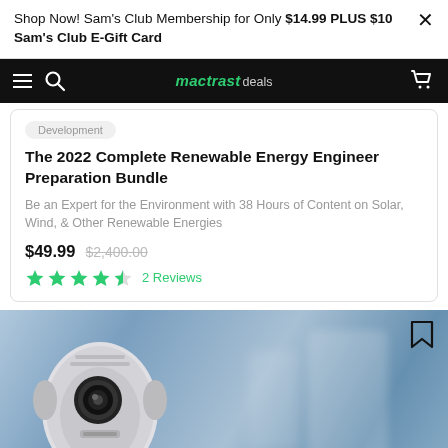Shop Now! Sam's Club Membership for Only $14.99 PLUS $10 Sam's Club E-Gift Card
[Figure (screenshot): Mactrast deals navigation bar with hamburger menu, search icon, mactrast deals logo, and cart icon on black background]
Development
The 2022 Complete Renewable Energy Engineer Preparation Bundle
Be an Expert for the Environment with 38 Hours of Content on Solar, Wind, & Other Renewable Energies
$49.99  $2,400.00
★★★★☆  2 Reviews
[Figure (photo): Robot head (AI humanoid) with metallic white casing and mechanical eye, set against a blurred blue office background with holographic display elements at the bottom]